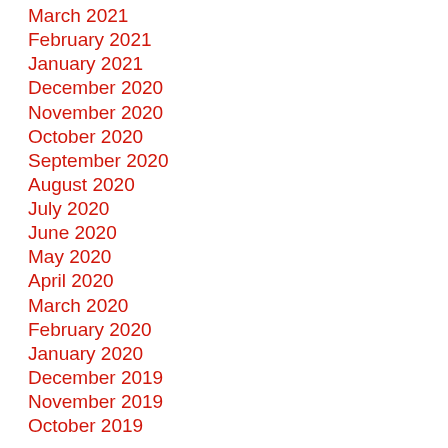March 2021
February 2021
January 2021
December 2020
November 2020
October 2020
September 2020
August 2020
July 2020
June 2020
May 2020
April 2020
March 2020
February 2020
January 2020
December 2019
November 2019
October 2019